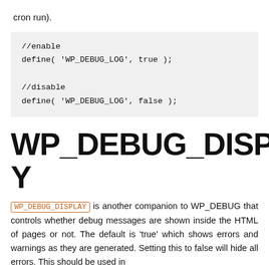cron run).
//enable
define( 'WP_DEBUG_LOG', true );

//disable
define( 'WP_DEBUG_LOG', false );
WP_DEBUG_DISPLAY
WP_DEBUG_DISPLAY is another companion to WP_DEBUG that controls whether debug messages are shown inside the HTML of pages or not. The default is 'true' which shows errors and warnings as they are generated. Setting this to false will hide all errors. This should be used in